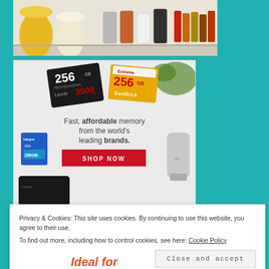[Figure (photo): Top portion of a shelf display showing candles and spice jars along with colorful spools of thread/ribbon on the right side.]
[Figure (photo): Advertisement for memory cards showing Lexar 256GB 3500x CF card, SanDisk Extreme 256GB SD card, an Integral card reader, a micro SD card, and a USB drive. Text reads: Fast, affordable memory from the world's leading brands. With a red SHOP NOW button.]
Privacy & Cookies: This site uses cookies. By continuing to use this website, you agree to their use.
To find out more, including how to control cookies, see here: Cookie Policy
Close and accept
Ideal for